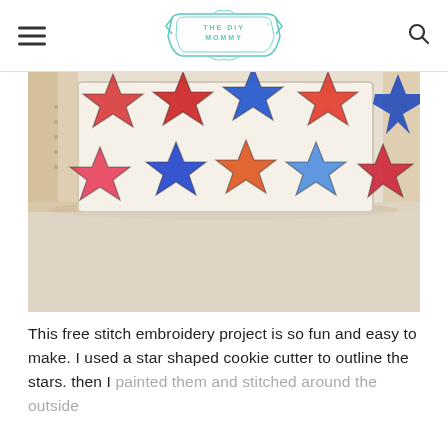THE DIY MOMMY
[Figure (photo): A white decorative pillow with red and blue star shapes painted on it, resting on a white upholstered surface. The pillow is displayed against a wooden-framed chair background.]
This free stitch embroidery project is so fun and easy to make. I used a star shaped cookie cutter to outline the stars. then I painted them and stitched around the outside